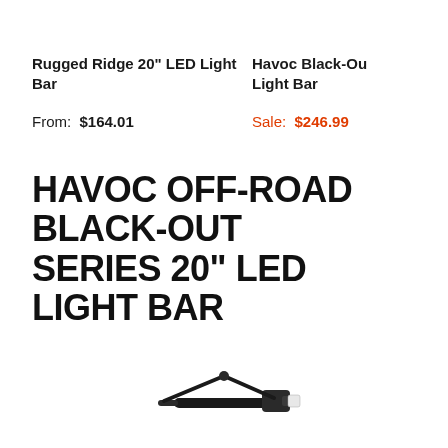Rugged Ridge 20" LED Light Bar
From: $164.01
Havoc Black-Out Light Bar
Sale: $246.99
HAVOC OFF-ROAD BLACK-OUT SERIES 20" LED LIGHT BAR
[Figure (photo): Close-up photo of a black cable connector/plug for an LED light bar, photographed against a white background, partially visible at the bottom of the page.]